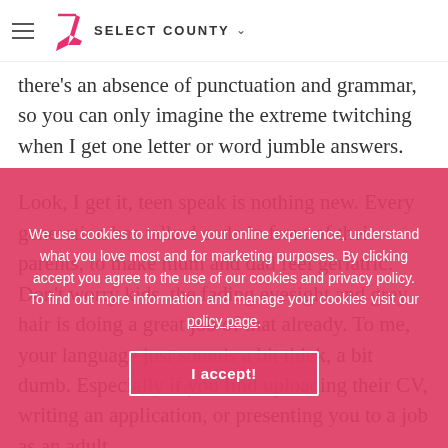SELECT COUNTY
there's an absence of punctuation and grammar, so you can only imagine the extreme twitching when I get one letter or word jumble answers.
Look, I get it, teen speak is nothing new. Every generation has talked code in front of their parents, to make mum and dad feel geriatric. Don't worry kids, the fading eyesight and grey hair is doing a great job of that already. To me, your language just sounds a bit thick, a bit dumb. Especially if you find uploading their CV, writing an application, or presenting you to a job as an adult.
Let's rattle through a few examples. Basic now
We use cookies to improve your online experience, understand what you love most and for marketing purposes. By clicking accept you agree to the use of our cookies and privacy policy. To find out more information and manage your cookies visit our policy page.